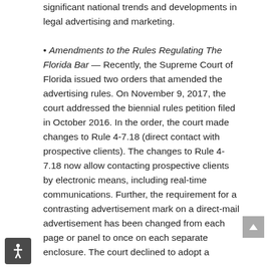significant national trends and developments in legal advertising and marketing.
• Amendments to the Rules Regulating The Florida Bar — Recently, the Supreme Court of Florida issued two orders that amended the advertising rules. On November 9, 2017, the court addressed the biennial rules petition filed in October 2016. In the order, the court made changes to Rule 4-7.18 (direct contact with prospective clients). The changes to Rule 4-7.18 now allow contacting prospective clients by electronic means, including real-time communications. Further, the requirement for a contrasting advertisement mark on a direct-mail advertisement has been changed from each page or panel to once on each separate enclosure. The court declined to adopt a